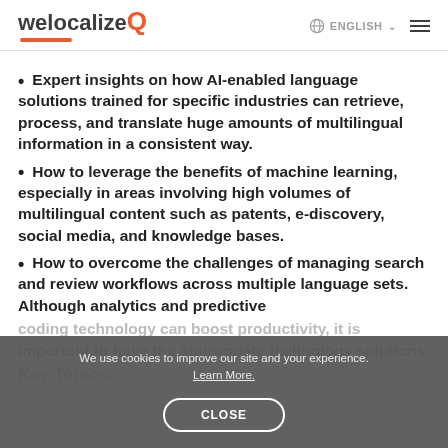welocalize ENGLISH
Expert insights on how AI-enabled language solutions trained for specific industries can retrieve, process, and translate huge amounts of multilingual information in a consistent way.
How to leverage the benefits of machine learning, especially in areas involving high volumes of multilingual content such as patents, e-discovery, social media, and knowledge bases.
How to overcome the challenges of managing search and review workflows across multiple language sets. Although analytics and predictive coding technology can boost productivity, it is important to have the appropriate technology solutions.
Key Topics:
We use cookies to improve our site and your experience. Learn More. CLOSE